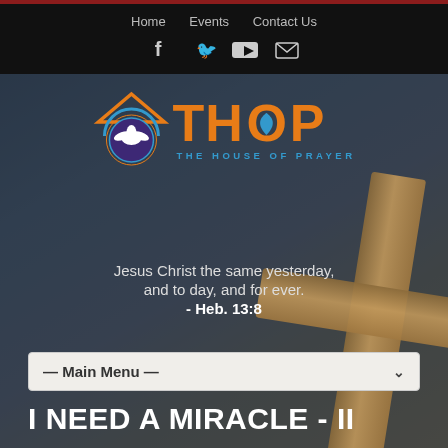Home   Events   Contact Us
[Figure (screenshot): Social media icons: Facebook, Twitter, YouTube, Email]
[Figure (logo): THOP - The House of Prayer logo with orange roof/house icon and circular emblem]
Jesus Christ the same yesterday, and to day, and for ever. - Heb. 13:8
— Main Menu —
I NEED A MIRACLE - II